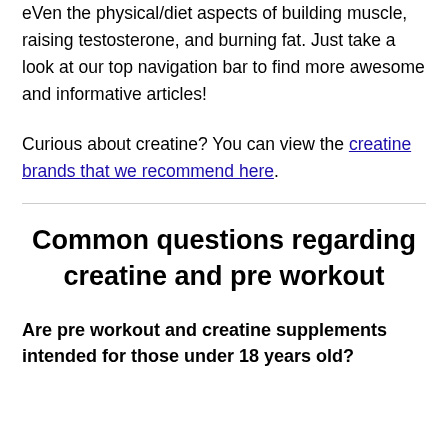eVen the physical/diet aspects of building muscle, raising testosterone, and burning fat. Just take a look at our top navigation bar to find more awesome and informative articles!
Curious about creatine? You can view the creatine brands that we recommend here.
Common questions regarding creatine and pre workout
Are pre workout and creatine supplements intended for those under 18 years old?